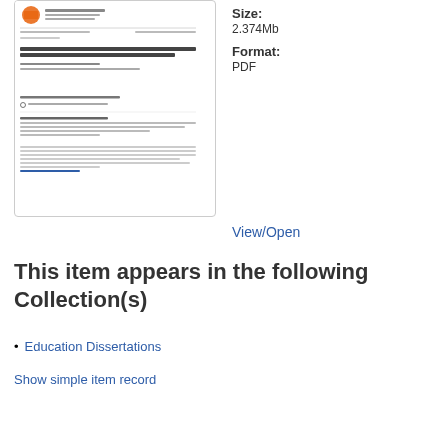[Figure (screenshot): Thumbnail preview of a PDF document showing a university dissertation cover page with logo, title 'EXPERIENCES OF BLACK MALE STUDENTS IN PREDOMINANTLY WHITE HIGH PERFORMING SECONDARY SCHOOLS', author, and abstract text.]
Size:
2.374Mb
Format:
PDF
View/Open
This item appears in the following Collection(s)
Education Dissertations
Show simple item record